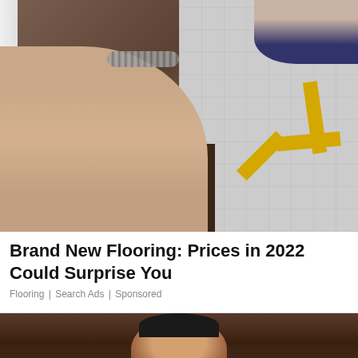[Figure (photo): A person pressing down a dark wood laminate floor plank near a white wall, wearing a beaded bracelet; right side shows gray tile subfloor with yellow painter's tape marks; another person visible kneeling in background top right.]
Brand New Flooring: Prices in 2022 Could Surprise You
Flooring | Search Ads | Sponsored
[Figure (photo): Partial photo of a person's head/face, blurred, with dark background and partial text overlay.]